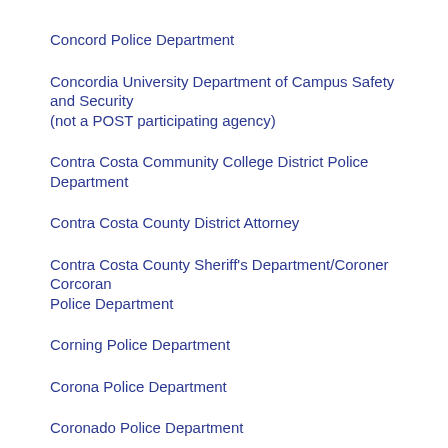Concord Police Department
Concordia University Department of Campus Safety and Security (not a POST participating agency)
Contra Costa Community College District Police Department
Contra Costa County District Attorney
Contra Costa County Sheriff's Department/Coroner Corcoran Police Department
Corning Police Department
Corona Police Department
Coronado Police Department
Costa Mesa Department of Communications Costa Mesa Police